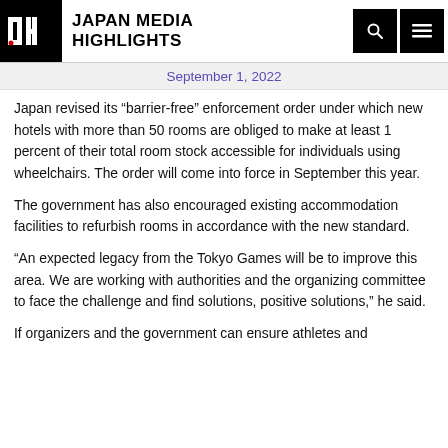JAPAN MEDIA HIGHLIGHTS
September 1, 2022
Japan revised its “barrier-free” enforcement order under which new hotels with more than 50 rooms are obliged to make at least 1 percent of their total room stock accessible for individuals using wheelchairs. The order will come into force in September this year.
The government has also encouraged existing accommodation facilities to refurbish rooms in accordance with the new standard.
“An expected legacy from the Tokyo Games will be to improve this area. We are working with authorities and the organizing committee to face the challenge and find solutions, positive solutions,” he said.
If organizers and the government can ensure athletes and